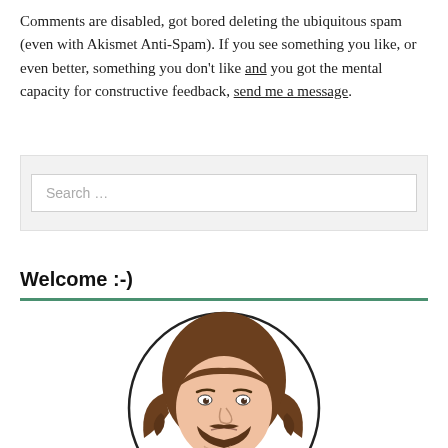Comments are disabled, got bored deleting the ubiquitous spam (even with Akismet Anti-Spam). If you see something you like, or even better, something you don't like and you got the mental capacity for constructive feedback, send me a message.
[Figure (other): Search widget box with a text input field showing placeholder text 'Search ...']
Welcome :-)
[Figure (illustration): Cartoon illustration of a man with long brown wavy hair and a beard, inside a circle, looking thoughtful with hand near chin]